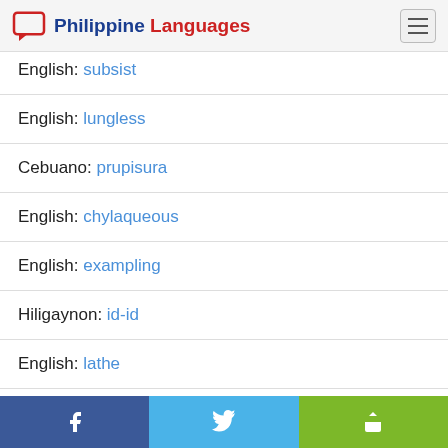Philippine Languages
English: subsist
English: lungless
Cebuano: prupisura
English: chylaqueous
English: exampling
Hiligaynon: id-id
English: lathe